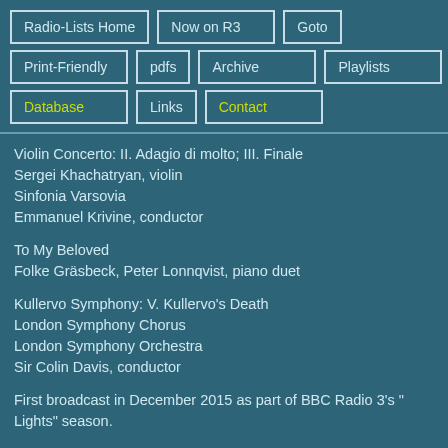Radio-Lists Home
Now on R3
Goto
Print-Friendly
pdfs
Archive
Playlists
Database
Links
Contact
Violin Concerto: II. Adagio di molto; III. Finale
Sergei Khachatryan, violin
Sinfonia Varsovia
Emmanuel Krivine, conductor
To My Beloved
Folke Gräsbeck, Peter Lonnqvist, piano duet
Kullervo Symphony: V. Kullervo's Death
London Symphony Chorus
London Symphony Orchestra
Sir Colin Davis, conductor
First broadcast in December 2015 as part of BBC Radio 3's "Lights" season.